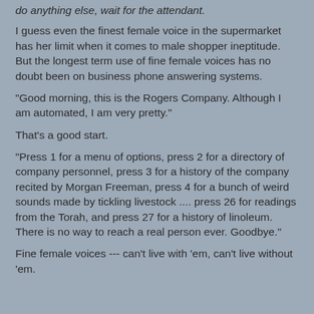do anything else, wait for the attendant.
I guess even the finest female voice in the supermarket has her limit when it comes to male shopper ineptitude.  But the longest term use of fine female voices has no doubt been on business phone answering systems.
"Good morning,  this is the Rogers Company.  Although I am automated, I am very pretty."
That's a good start.
"Press 1 for a menu of options, press 2 for a directory of company personnel, press 3 for a history of the company recited by Morgan Freeman, press 4 for a bunch of weird sounds made by tickling livestock .... press 26 for readings from the Torah, and press 27 for a history of linoleum. There is no way to reach a real person ever. Goodbye."
Fine female voices --- can't live with 'em, can't live without 'em.